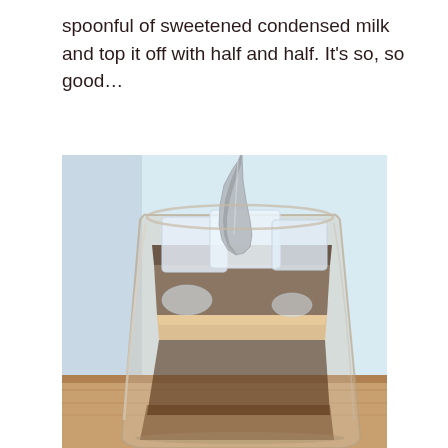spoonful of sweetened condensed milk and top it off with half and half. It's so, so good…
[Figure (photo): A glass of iced coffee with ice cubes and a spoon, showing layered brown coffee and cream, photographed close-up on a light blue background with a wooden surface at the bottom.]